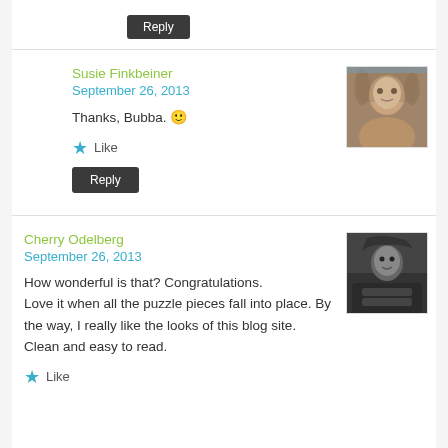Reply (button)
Susie Finkbeiner
September 26, 2013
Thanks, Bubba. 🙂
Like
Reply
Cherry Odelberg
September 26, 2013
How wonderful is that? Congratulations.
Love it when all the puzzle pieces fall into place. By the way, I really like the looks of this blog site. Clean and easy to read.
Like